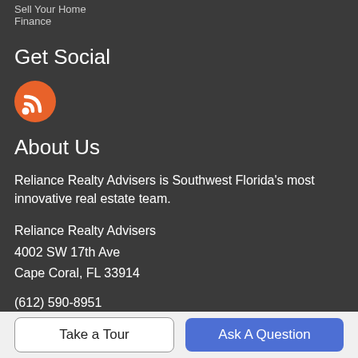Sell Your Home
Finance
Get Social
[Figure (illustration): Orange circular RSS feed icon with white signal waves]
About Us
Reliance Realty Advisers is Southwest Florida's most innovative real estate team.
Reliance Realty Advisers
4002 SW 17th Ave
Cape Coral, FL 33914
(612) 590-8951
Take a Tour
Ask A Question